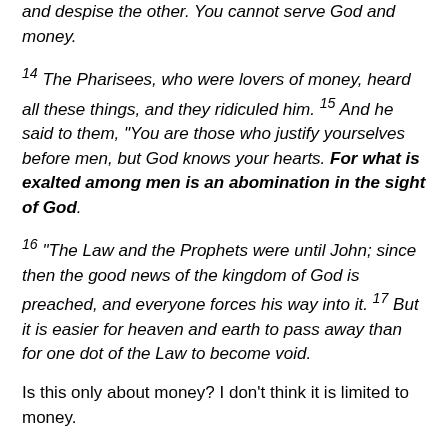and despise the other. You cannot serve God and money.
14 The Pharisees, who were lovers of money, heard all these things, and they ridiculed him. 15 And he said to them, “You are those who justify yourselves before men, but God knows your hearts. For what is exalted among men is an abomination in the sight of God.
16 “The Law and the Prophets were until John; since then the good news of the kingdom of God is preached, and everyone forces his way into it. 17 But it is easier for heaven and earth to pass away than for one dot of the Law to become void.
Is this only about money? I don’t think it is limited to money.
Jude 1:24-25 (ESV)